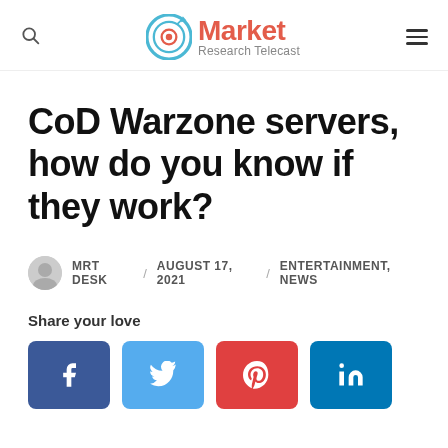Market Research Telecast
CoD Warzone servers, how do you know if they work?
MRT DESK / AUGUST 17, 2021 / ENTERTAINMENT, NEWS
Share your love
[Figure (other): Social share buttons: Facebook, Twitter, Pinterest, LinkedIn]